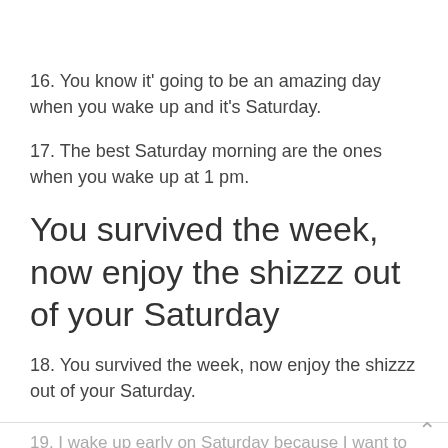16. You know it' going to be an amazing day when you wake up and it's Saturday.
17. The best Saturday morning are the ones when you wake up at 1 pm.
You survived the week, now enjoy the shizzz out of your Saturday
18. You survived the week, now enjoy the shizzz out of your Saturday.
19. I wake up early on Saturday because I want to